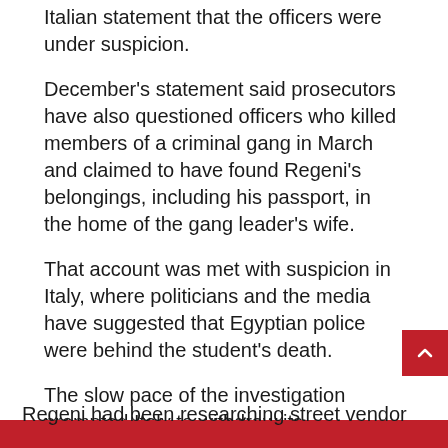Italian statement that the officers were under suspicion.
December's statement said prosecutors have also questioned officers who killed members of a criminal gang in March and claimed to have found Regeni's belongings, including his passport, in the home of the gang leader's wife.
That account was met with suspicion in Italy, where politicians and the media have suggested that Egyptian police were behind the student's death.
The slow pace of the investigation prompted Italy to withdraw its ambassador from Cairo.
Regeni had been researching street vendor